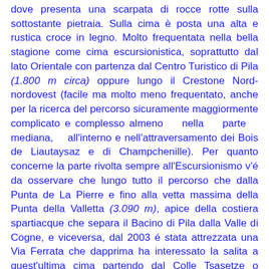dove presenta una scarpata di rocce rotte sulla sottostante pietraia. Sulla cima è posta una alta e rustica croce in legno. Molto frequentata nella bella stagione come cima escursionistica, soprattutto dal lato Orientale con partenza dal Centro Turistico di Pila (1.800 m circa) oppure lungo il Crestone Nord-nordovest (facile ma molto meno frequentato, anche per la ricerca del percorso sicuramente maggiormente complicato e complesso almeno nella parte mediana, all'interno e nell'attraversamento dei Bois de Liautaysaz e di Champchenille). Per quanto concerne la parte rivolta sempre all'Escursionismo v'é da osservare che lungo tutto il percorso che dalla Punta de La Pierre e fino alla vetta massima della Punta della Valletta (3.090 m), apice della costiera spartiacque che separa il Bacino di Pila dalla Valle di Cogne, e viceversa, dal 2003 é stata attrezzata una Via Ferrata che dapprima ha interessato la salita a quest'ultima cima partendo dal Colle Tsasetze o Chasèche (2.815 m) lungo la sua Cresta Sudovest e poi progressivamente é stata estesa fino alla punta in